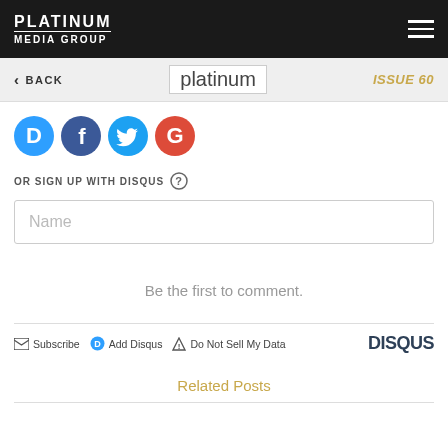PLATINUM MEDIA GROUP
< BACK | platinum | ISSUE 60
[Figure (illustration): Four circular social media login icons: Disqus (blue D), Facebook (dark blue f), Twitter (light blue bird), Google (red G)]
OR SIGN UP WITH DISQUS ?
Name
Be the first to comment.
Subscribe  Add Disqus  Do Not Sell My Data  DISQUS
Related Posts